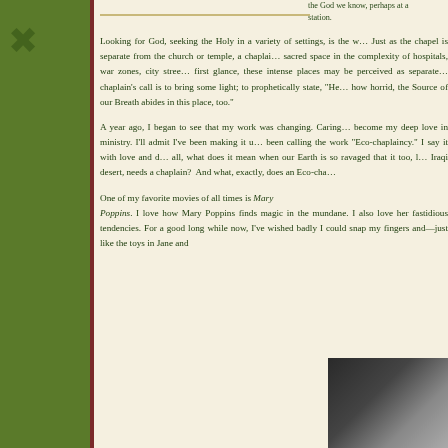the God we know, perhaps at a station.
Looking for God, seeking the Holy in a variety of settings, is the work. Just as the chapel is separate from the church or temple, a chaplain finds sacred space in the complexity of hospitals, war zones, city streets. At first glance, these intense places may be perceived as separate. The chaplain's call is to bring some light; to prophetically state, "Here, however horrid, the Source of our Breath abides in this place, too."
A year ago, I began to see that my work was changing. Caring for Earth become my deep love in ministry. I'll admit I've been making it up. I've been calling the work "Eco-chaplaincy." I say it with love and d... after all, what does it mean when our Earth is so ravaged that it too, like the Iraqi desert, needs a chaplain? And what, exactly, does an Eco-cha...
One of my favorite movies of all times is Mary Poppins. I love how Mary Poppins finds magic in the mundane. I also love her fastidious tendencies. For a good long while now, I've wished badly I could snap my fingers and—just like the toys in Jane and
[Figure (photo): Portrait photograph of a person, partially visible in bottom right corner, dark background]